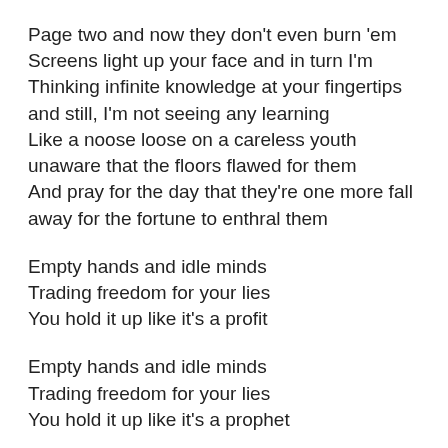Page two and now they don't even burn 'em
Screens light up your face and in turn I'm
Thinking infinite knowledge at your fingertips
and still, I'm not seeing any learning
Like a noose loose on a careless youth
unaware that the floors flawed for them
And pray for the day that they're one more fall
away for the fortune to enthral them
Empty hands and idle minds
Trading freedom for your lies
You hold it up like it's a profit
Empty hands and idle minds
Trading freedom for your lies
You hold it up like it's a prophet